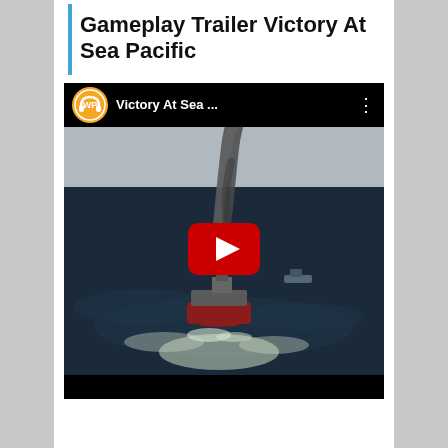Gameplay Trailer Victory At Sea Pacific
[Figure (screenshot): YouTube video embed showing a naval warfare game scene. A burning warship is shown from aerial view on dark ocean water with white wake trails and dark smoke rising. A red YouTube play button is overlaid in the center. The video top bar shows a WordPress-style orange WP logo and the title 'Victory At Sea ...' on a black background.]